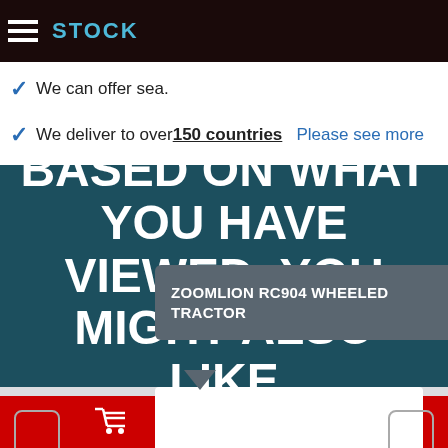STOCK
We can offer sea.
We deliver to over 150 countries   Please see more
BASED ON WHAT YOU HAVE VIEWED, YOU MIGHT ALSO LIKE
ZOOMLION RC904 WHEELED TRACTOR